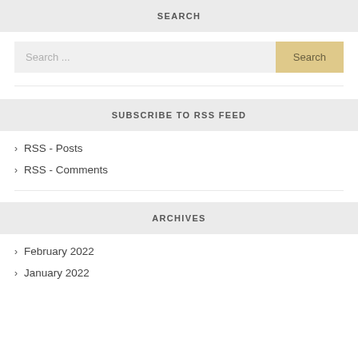SEARCH
Search ...
Search
SUBSCRIBE TO RSS FEED
RSS - Posts
RSS - Comments
ARCHIVES
February 2022
January 2022